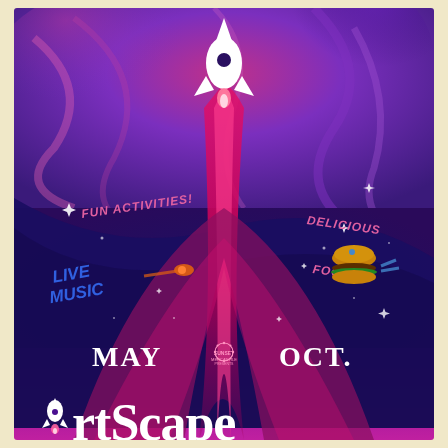[Figure (illustration): ArtScape event poster featuring a rocket launching into a purple and dark blue space scene with swirling colors, stars, text reading FUN ACTIVITIES!, LIVE MUSIC, DELICIOUS FOODS, MAY, OCT., a Sunset Mercantile logo, and large ArtScape text at the bottom with a rocket icon replacing the A.]